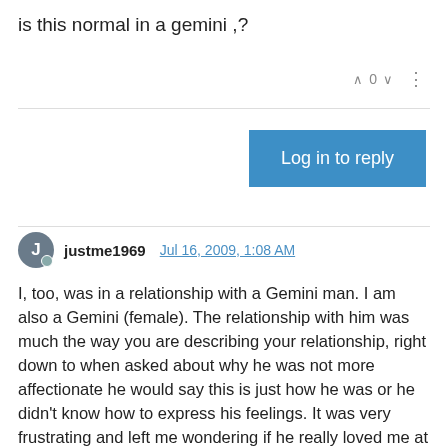is this normal in a gemini ,?
0
Log in to reply
justme1969  Jul 16, 2009, 1:08 AM
I, too, was in a relationship with a Gemini man. I am also a Gemini (female). The relationship with him was much the way you are describing your relationship, right down to when asked about why he was not more affectionate he would say this is just how he was or he didn't know how to express his feelings. It was very frustrating and left me wondering if he really loved me at all. He told me that of course he did, look at how much time we spent together and how often we talked on the phone. He would say that if he wasn't serious he